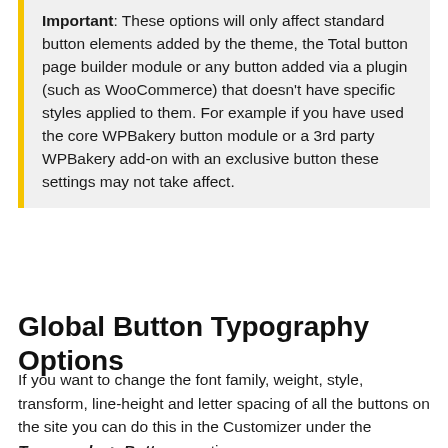Important: These options will only affect standard button elements added by the theme, the Total button page builder module or any button added via a plugin (such as WooCommerce) that doesn't have specific styles applied to them. For example if you have used the core WPBakery button module or a 3rd party WPBakery add-on with an exclusive button these settings may not take affect.
Global Button Typography Options
If you want to change the font family, weight, style, transform, line-height and letter spacing of all the buttons on the site you can do this in the Customizer under the Typography > Buttons section.